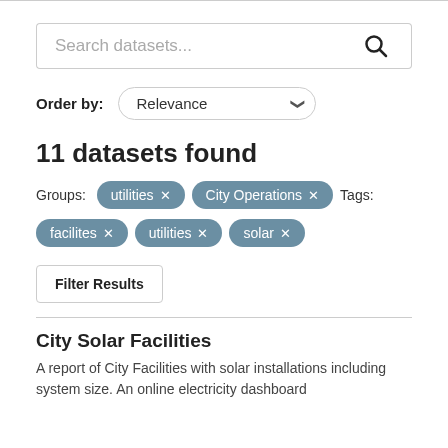[Figure (screenshot): Search bar with placeholder text 'Search datasets...' and a search icon button]
Order by: Relevance
11 datasets found
Groups: utilities × City Operations × Tags: facilites × utilities × solar ×
Filter Results
City Solar Facilities
A report of City Facilities with solar installations including system size. An online electricity dashboard